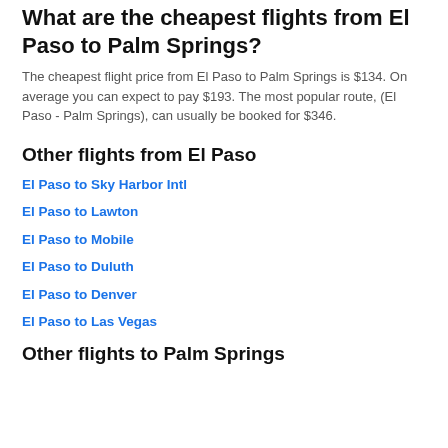What are the cheapest flights from El Paso to Palm Springs?
The cheapest flight price from El Paso to Palm Springs is $134. On average you can expect to pay $193. The most popular route, (El Paso - Palm Springs), can usually be booked for $346.
Other flights from El Paso
El Paso to Sky Harbor Intl
El Paso to Lawton
El Paso to Mobile
El Paso to Duluth
El Paso to Denver
El Paso to Las Vegas
Other flights to Palm Springs